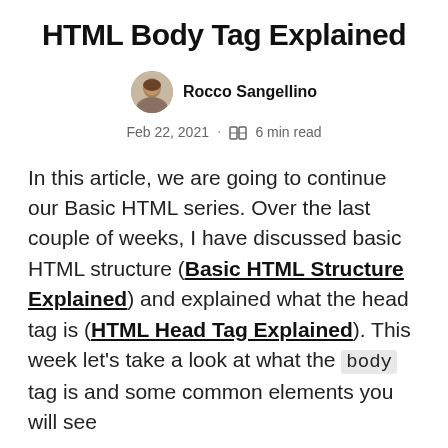HTML Body Tag Explained
Rocco Sangellino
Feb 22, 2021 · 6 min read
In this article, we are going to continue our Basic HTML series. Over the last couple of weeks, I have discussed basic HTML structure (Basic HTML Structure Explained) and explained what the head tag is (HTML Head Tag Explained). This week let's take a look at what the body tag is and some common elements you will see